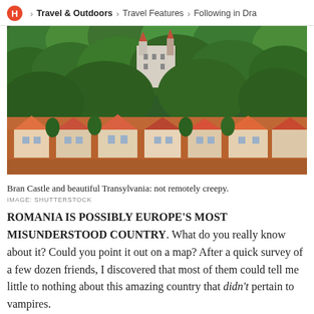H > Travel & Outdoors > Travel Features > Following in Dra
[Figure (photo): Aerial view of Bran Castle perched on a wooded hillside above a village of red-roofed houses in Transylvania, Romania. Dense green forest surrounds the white castle with orange-red rooftop accents.]
Bran Castle and beautiful Transylvania: not remotely creepy.
IMAGE: SHUTTERSTOCK
ROMANIA IS POSSIBLY EUROPE'S MOST MISUNDERSTOOD COUNTRY. What do you really know about it? Could you point it out on a map? After a quick survey of a few dozen friends, I discovered that most of them could tell me little to nothing about this amazing country that didn't pertain to vampires.